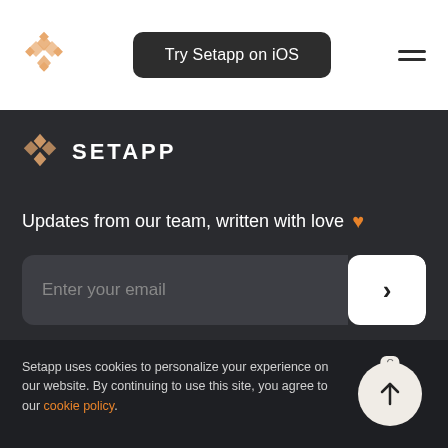Try Setapp on iOS
[Figure (logo): Setapp diamond logo in orange/tan color, top left of nav bar]
Try Setapp on iOS
[Figure (other): Hamburger menu icon, two horizontal lines]
[Figure (logo): Setapp diamond logo in orange/tan color in dark section]
SETAPP
Updates from our team, written with love ❤
Enter your email
Setapp uses cookies to personalize your experience on our website. By continuing to use this site, you agree to our cookie policy.